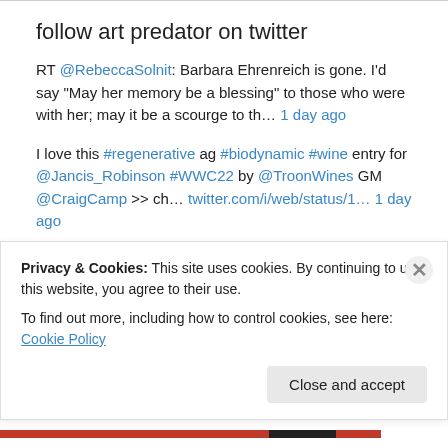follow art predator on twitter
RT @RebeccaSolnit: Barbara Ehrenreich is gone. I'd say "May her memory be a blessing" to those who were with her; may it be a scourge to th… 1 day ago
I love this #regenerative ag #biodynamic #wine entry for @Jancis_Robinson #WWC22 by @TroonWines GM @CraigCamp >> ch… twitter.com/i/web/status/1… 1 day ago
RT @RealWineGuru: Wine and Cheese Delivery! Quartomoro Orriu Cannonau di Sardegna and a Cheese Board from Curdbox #ItalianFWT: What's bet… 1 day ago
Privacy & Cookies: This site uses cookies. By continuing to use this website, you agree to their use. To find out more, including how to control cookies, see here: Cookie Policy
Close and accept